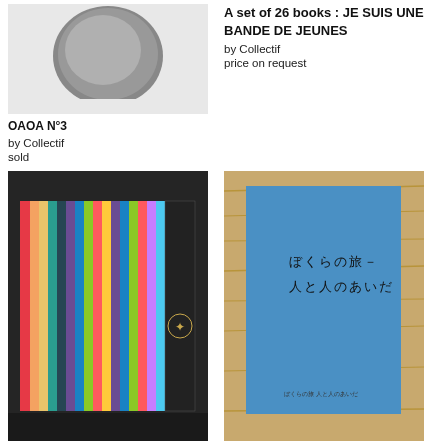[Figure (photo): Black and white photograph of a round head from above]
OAOA N°3
by Collectif
sold
[Figure (photo): Cover image: A set of 26 books - JE SUIS UNE BANDE DE JEUNES]
A set of 26 books : JE SUIS UNE BANDE DE JEUNES
by Collectif
price on request
[Figure (photo): Complete 27 Zine Collection in dark box with colorful spines]
COMPLETE 27 ZINE COLLECTION with box + 2 extra numbers by Edit...
by Collectif
[Figure (photo): Bokura no tabi book with blue cover on wood background]
Bokura no tabi : Hito to hito no aida
by Collectif
Euro 300